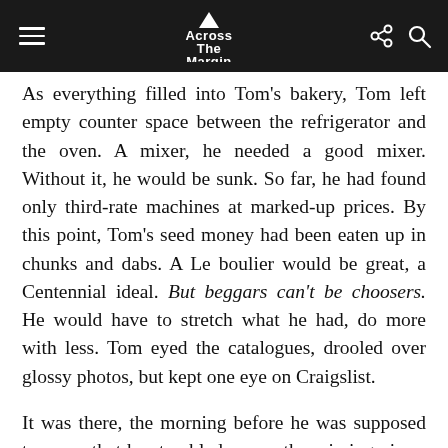Across The Margin
As everything filled into Tom's bakery, Tom left empty counter space between the refrigerator and the oven. A mixer, he needed a good mixer. Without it, he would be sunk. So far, he had found only third-rate machines at marked-up prices. By this point, Tom's seed money had been eaten up in chunks and dabs. A Le boulier would be great, a Centennial ideal. But beggars can't be choosers. He would have to stretch what he had, do more with less. Tom eyed the catalogues, drooled over glossy photos, but kept one eye on Craigslist.
It was there, the morning before he was supposed to open, that he stumbled across the missing piece, a Centennial brand Deluxor industrial power stand mixer, advertised as gently used and powder blue — a